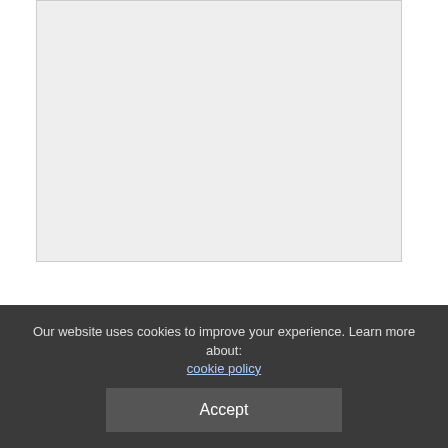[Figure (other): Large image placeholder with light gray background]
--- --- --- --- --- --- --- --- --- --- --- --- --- --- --- --- --- --- --- ---
Don't Miss...
Our website uses cookies to improve your experience. Learn more about: cookie policy
Accept